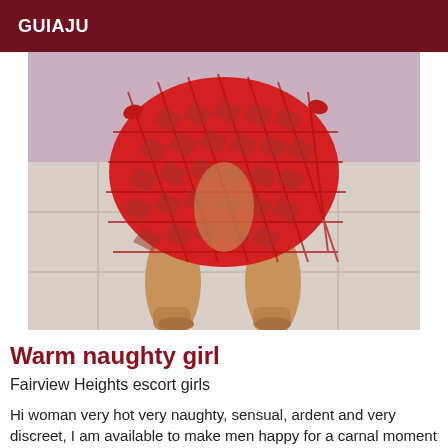GUIAJU
[Figure (photo): Person from behind wearing a red fishnet/crochet mini dress, standing on tiled floor]
Warm naughty girl
Fairview Heights escort girls
Hi woman very hot very naughty, sensual, ardent and very discreet, I am available to make men happy for a carnal moment in the discretion I receive to spend a hot